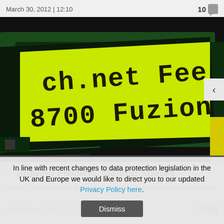March 30, 2012 | 12:10
10
[Figure (photo): Close-up photo of an Arduino LCD display showing text 'ch.net Fee 8700 Fuzion' in a yellow-green LCD font on a dark green circuit board background.]
Arduino Projects: Getting Started
Gareth walks us through some simple and fun Arduino projects.
September 2, 2010 | 07:29
29
In line with recent changes to data protection legislation in the UK and Europe we would like to direct you to our updated Privacy Policy here.
Dismiss